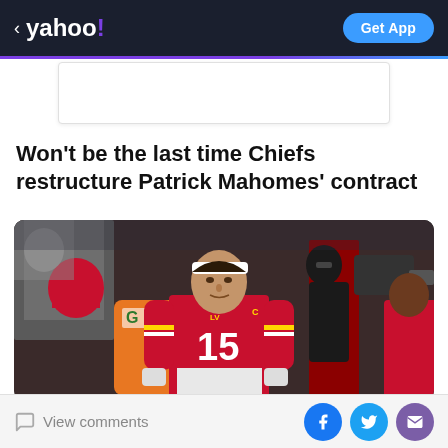< yahoo! | Get App
[Figure (other): White advertisement placeholder box]
Won't be the last time Chiefs restructure Patrick Mahomes' contract
[Figure (photo): Patrick Mahomes wearing Kansas City Chiefs red jersey number 15 with LV Super Bowl patch, white headband, standing on sideline during Super Bowl LV game]
View comments